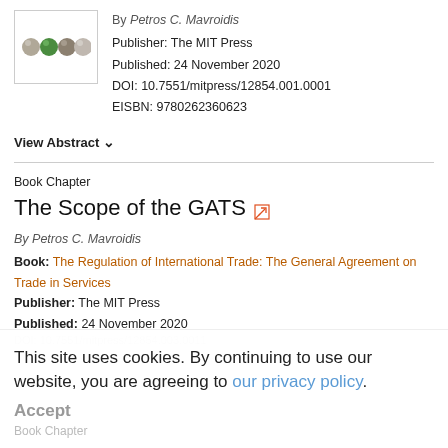[Figure (illustration): Book cover thumbnail showing four marble-like spheres (grey, green, grey, grey) on a white background]
By Petros C. Mavroidis
Publisher: The MIT Press
Published: 24 November 2020
DOI: 10.7551/mitpress/12854.001.0001
EISBN: 9780262360623
View Abstract ∨
Book Chapter
The Scope of the GATS
By Petros C. Mavroidis
Book: The Regulation of International Trade: The General Agreement on Trade in Services
Publisher: The MIT Press
Published: 24 November 2020
DOI: 10.7551/mitpress/12854.003.0011
This site uses cookies. By continuing to use our website, you are agreeing to our privacy policy.
Accept
Book Chapter